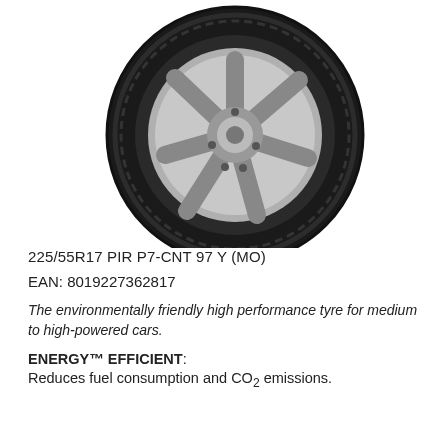[Figure (photo): Black and silver car tyre (Pirelli P7 Cinturato) shown at an angle, displaying the tread pattern and alloy wheel rim. The tyre is positioned in the upper-left portion of the image on a white background.]
225/55R17 PIR P7-CNT 97 Y (MO)
EAN: 8019227362817
The environmentally friendly high performance tyre for medium to high-powered cars.
ENERGY™ EFFICIENT: Reduces fuel consumption and CO2 emissions.